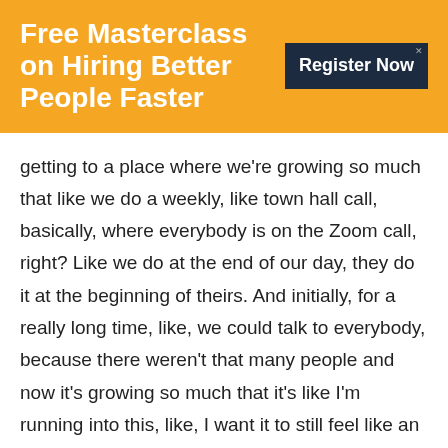Free Masterclass on Hiring Better People Faster
[Figure (other): Register Now button — dark navy square with white bold text 'Register Now' and a small X close button in top-right corner]
getting to a place where we're growing so much that like we do a weekly, like town hall call, basically, where everybody is on the Zoom call, right? Like we do at the end of our day, they do it at the beginning of theirs. And initially, for a really long time, like, we could talk to everybody, because there weren't that many people and now it's growing so much that it's like I'm running into this, like, I want it to still feel like an authentic culture but I can't personally get a